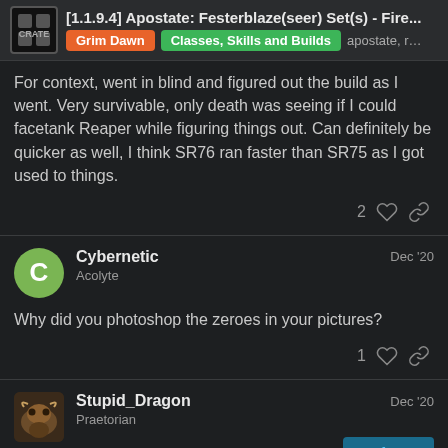[1.1.9.4] Apostate: Festerblaze(seer) Set(s) - Fire... | Grim Dawn | Classes, Skills and Builds | apostate, r...
For context, went in blind and figured out the build as I went. Very survivable, only death was seeing if I could facetank Reaper while figuring things out. Can definitely be quicker as well, I think SR76 ran faster than SR75 as I got used to things.
Cybernetic — Acolyte — Dec '20
Why did you photoshop the zeroes in your pictures?
Stupid_Dragon — Praetorian — Dec '20
Lol for real, Cunning and Spirit appear to b...